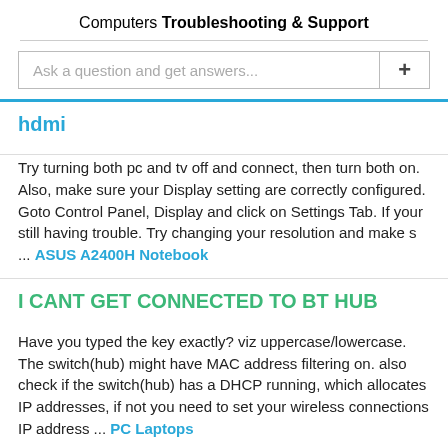Computers
Troubleshooting & Support
hdmi
Try turning both pc and tv off and connect, then turn both on. Also, make sure your Display setting are correctly configured. Goto Control Panel, Display and click on Settings Tab. If your still having trouble. Try changing your resolution and make s ... ASUS A2400H Notebook
I CANT GET CONNECTED TO BT HUB
Have you typed the key exactly? viz uppercase/lowercase. The switch(hub) might have MAC address filtering on. also check if the switch(hub) has a DHCP running, which allocates IP addresses, if not you need to set your wireless connections IP address ... PC Laptops